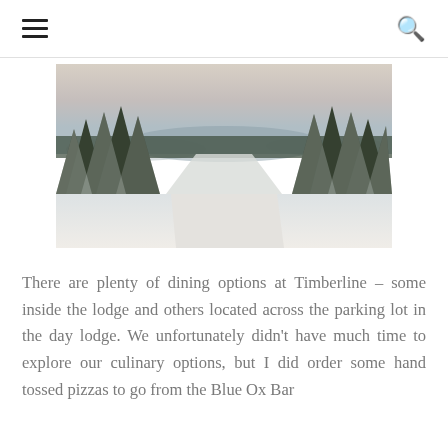[hamburger menu icon] [search icon]
[Figure (photo): Winter landscape photo showing snow-covered evergreen trees on a ski slope with distant mountain ranges and overcast sky visible in the background. Snow covers the ground in the foreground.]
There are plenty of dining options at Timberline – some inside the lodge and others located across the parking lot in the day lodge. We unfortunately didn't have much time to explore our culinary options, but I did order some hand tossed pizzas to go from the Blue Ox Bar